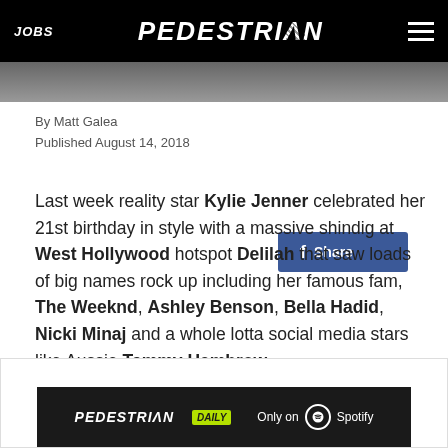JOBS  PEDESTRIAN  ☰
[Figure (photo): Partial photo strip showing people at a party, cropped at top]
By Matt Galea
Published August 14, 2018
Last week reality star Kylie Jenner celebrated her 21st birthday in style with a massive shindig at West Hollywood hotspot Delilah that saw loads of big names rock up including her famous fam, The Weeknd, Ashley Benson, Bella Hadid, Nicki Minaj and a whole lotta social media stars like Aussie Tammy Hembrow.
[Figure (infographic): Pedestrian Daily - Only on Spotify advertisement banner]